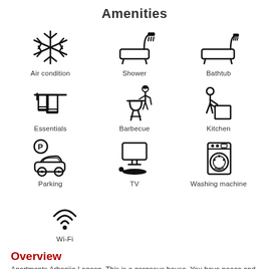Amenities
[Figure (infographic): Grid of amenity icons with labels: Air condition (snowflake), Shower (shower/bathtub), Bathtub (bathtub with shower), Essentials (towel rack), Barbecue (chef at grill), Kitchen (person with box), Parking (P sign with car), TV (TV with person relaxing), Washing machine (washing machine), Wi-Fi (wifi symbol)]
Overview
Apartments Arbanija Lagoon. This is a gorgeous house. You have peace and quiet near the town and beach. There is a